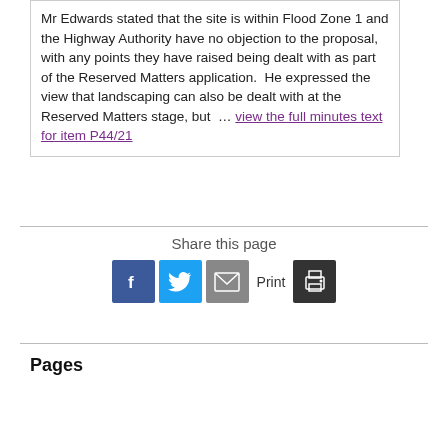Mr Edwards stated that the site is within Flood Zone 1 and the Highway Authority have no objection to the proposal, with any points they have raised being dealt with as part of the Reserved Matters application. He expressed the view that landscaping can also be dealt with at the Reserved Matters stage, but … view the full minutes text for item P44/21
Share this page
[Figure (infographic): Share icons: Facebook, Twitter, Email, Print]
Pages